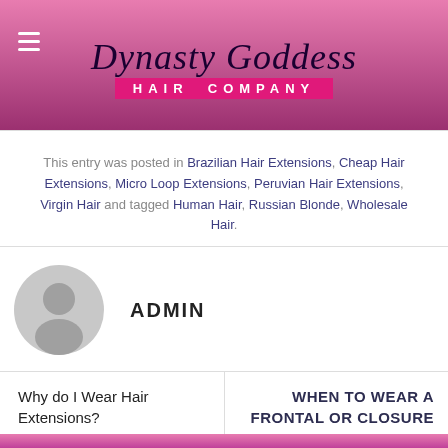[Figure (logo): Dynasty Goddess Hair Company logo with script text on pink/purple gradient background]
This entry was posted in Brazilian Hair Extensions, Cheap Hair Extensions, Micro Loop Extensions, Peruvian Hair Extensions, Virgin Hair and tagged Human Hair, Russian Blonde, Wholesale Hair.
[Figure (illustration): Generic grey avatar/profile icon of a person silhouette]
ADMIN
Why do I Wear Hair Extensions?
WHEN TO WEAR A FRONTAL OR CLOSURE – HAIR EXTENSIONS